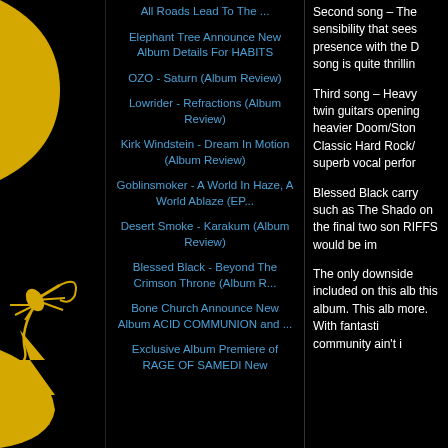All Roads Lead To The ...
Elephant Tree Announce New Album Details For HABITS
OZO - Saturn (Album Review)
Lowrider - Refractions (Album Review)
Kirk Windstein - Dream In Motion (Album Review)
Goblinsmoker - A World In Haze, A World Ablaze (EP...
Desert Smoke - Karakum (Album Review)
Blessed Black - Beyond The Crimson Throne (Album R...
Bone Church Announce New Album ACID COMMUNION and ...
Exclusive Album Premiere of RAGE OF SAMEDI New
Second song – The sensibility that sees presence with the D song is quite thrillin
Third song – Heavy twin guitars opening heavier Doom/Ston Classic Hard Rock/ superb vocal perfor
Blessed Black carry such as The Shado on the final two son RIFFS would be im
The only downside included on this alb this album. This alb more. With fantasti community ain't i